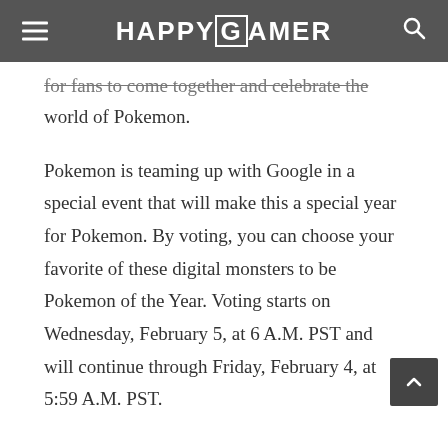HAPPYGAMER
for fans to come together and celebrate the world of Pokemon.
Pokemon is teaming up with Google in a special event that will make this a special year for Pokemon. By voting, you can choose your favorite of these digital monsters to be Pokemon of the Year. Voting starts on Wednesday, February 5, at 6 A.M. PST and will continue through Friday, February 4, at 5:59 A.M. PST.